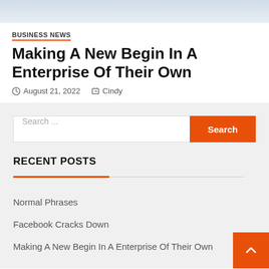[Figure (photo): Partial top image banner, light blue-gray gradient]
BUSINESS NEWS
Making A New Begin In A Enterprise Of Their Own
August 21, 2022   Cindy
Search ...
RECENT POSTS
Normal Phrases
Facebook Cracks Down
Making A New Begin In A Enterprise Of Their Own